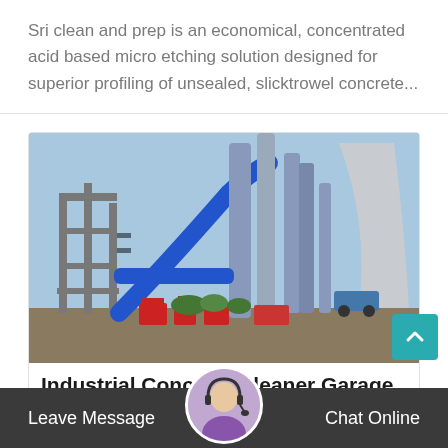Sri clean and prep is an economical, concentrated acid based micro etching solution designed for superior profiling of unsealed, slicktrowel concrete...
[Figure (photo): Industrial cement plant facility with tall blue metal pipes, towers, silos, scaffolding structures, and red machinery on the ground. A large cooling tower is visible in the background on the right.]
Industrial Concrete Cleaner Garage Floors
Leave Message
Chat Online